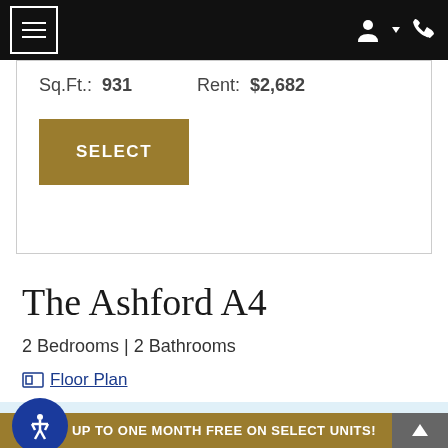Navigation bar with hamburger menu, user and phone icons
Sq.Ft.: 931    Rent: $2,682
SELECT
The Ashford A4
2 Bedrooms | 2 Bathrooms
Floor Plan
Don't see the apartment or move-in date you
UP TO ONE MONTH FREE ON SELECT UNITS!